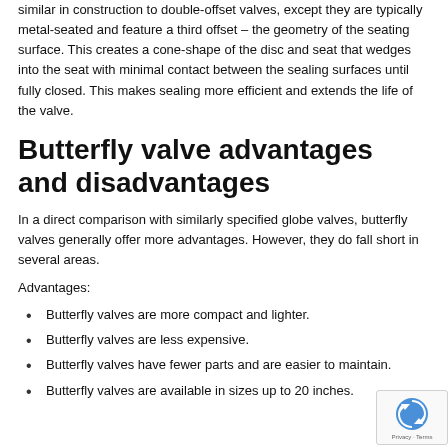similar in construction to double-offset valves, except they are typically metal-seated and feature a third offset – the geometry of the seating surface. This creates a cone-shape of the disc and seat that wedges into the seat with minimal contact between the sealing surfaces until fully closed. This makes sealing more efficient and extends the life of the valve.
Butterfly valve advantages and disadvantages
In a direct comparison with similarly specified globe valves, butterfly valves generally offer more advantages. However, they do fall short in several areas.
Advantages:
Butterfly valves are more compact and lighter.
Butterfly valves are less expensive.
Butterfly valves have fewer parts and are easier to maintain.
Butterfly valves are available in sizes up to 20 inches.